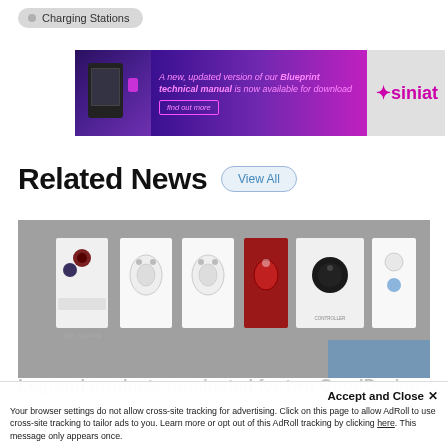Charging Stations
[Figure (screenshot): Siniat advertisement banner: 'A new, updated version of our Blueprint technical manual is now available for download' with find out more button and Siniat logo]
Related News
[Figure (photo): Photo of various electrical outlet/socket products mounted on a panel, including white outlets, a red outlet, and a dark rotary knob]
Accept and Close ✕
Your browser settings do not allow cross-site tracking for advertising. Click on this page to allow AdRoll to use cross-site tracking to tailor ads to you. Learn more or opt out of this AdRoll tracking by clicking here. This message only appears once.
Legrand products nominated for two GoodDesign